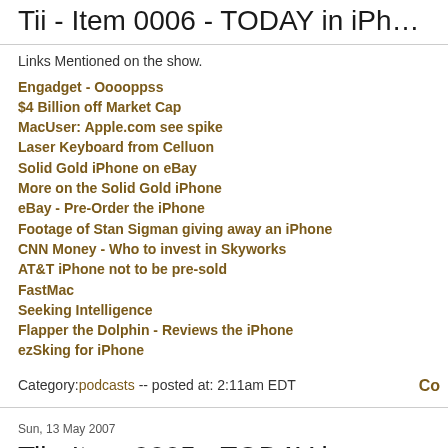Tii - Item 0006 - TODAY in iPhone
Links Mentioned on the show.
Engadget - Ooooppss
$4 Billion off Market Cap
MacUser: Apple.com see spike
Laser Keyboard from Celluon
Solid Gold iPhone on eBay
More on the Solid Gold iPhone
eBay - Pre-Order the iPhone
Footage of Stan Sigman giving away an iPhone
CNN Money - Who to invest in Skyworks
AT&T iPhone not to be pre-sold
FastMac
Seeking Intelligence
Flapper the Dolphin - Reviews the iPhone
ezSking for iPhone
Category:podcasts -- posted at: 2:11am EDT
Co
Sun, 13 May 2007
Tii - Item 0005 - TODAY in iPhone